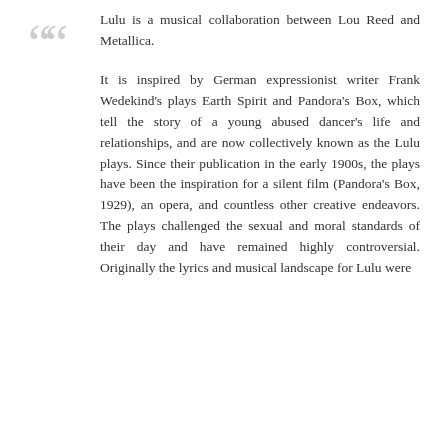Lulu is a musical collaboration between Lou Reed and Metallica.

It is inspired by German expressionist writer Frank Wedekind's plays Earth Spirit and Pandora's Box, which tell the story of a young abused dancer's life and relationships, and are now collectively known as the Lulu plays. Since their publication in the early 1900s, the plays have been the inspiration for a silent film (Pandora's Box, 1929), an opera, and countless other creative endeavors. The plays challenged the sexual and moral standards of their day and have remained highly controversial. Originally the lyrics and musical landscape for Lulu were